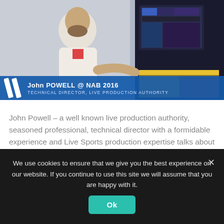[Figure (photo): John Powell at NAB 2016, seated in a broadcast production environment with screens visible. Lower third graphic reads: John POWELL @ NAB 2016 / TECHNICAL DIRECTOR, LIVE PRODUCTION AUTHORITY]
John Powell – a well known live production authority, seasoned professional, technical director with a formidable experience and Live Sports production expertise talks about Streamstar. LEARN MORE
Exhibitions, Testimonials, USA, Videos,
We use cookies to ensure that we give you the best experience on our website. If you continue to use this site we will assume that you are happy with it.